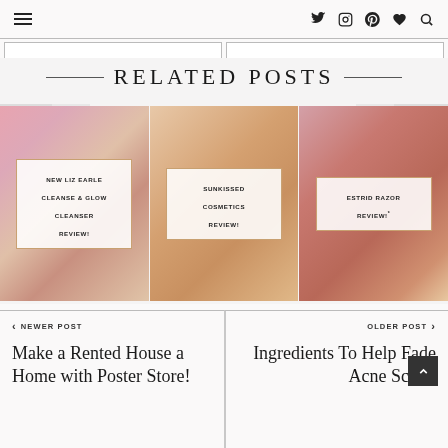Navigation bar with hamburger menu and social icons: Twitter, Instagram, Pinterest, heart/favorites, search
RELATED POSTS
[Figure (photo): Blog post card: New Liz Earle Cleanse & Glow Cleanser Review! — floral pink and product photo background with white label overlay]
[Figure (photo): Blog post card: Sunkissed Cosmetics Review! — golden cosmetics product photo background with white label overlay]
[Figure (photo): Blog post card: Estrid Razor Review!* — pink and gold razor product photo background with white label overlay]
‹ NEWER POST
Make a Rented House a Home with Poster Store!
OLDER POST ›
Ingredients To Help Fade Acne Scars!